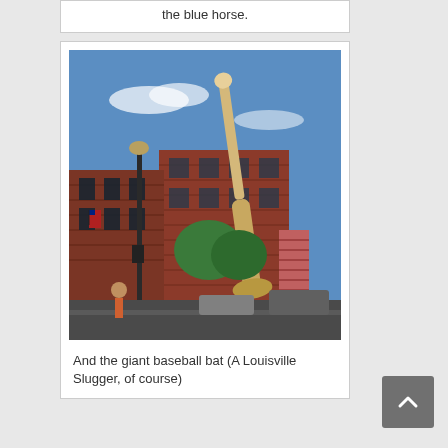the blue horse.
[Figure (photo): A giant baseball bat (Louisville Slugger) leaning against a red brick building in an urban street scene, with lamp posts, trees, and pedestrians visible.]
And the giant baseball bat (A Louisville Slugger, of course)